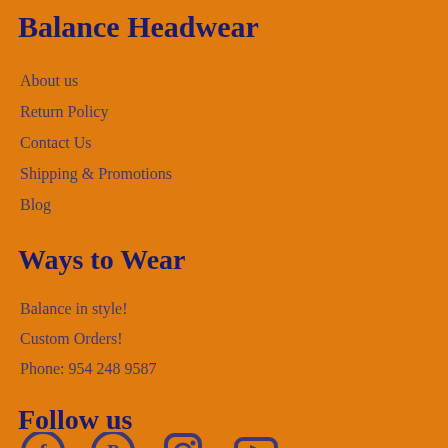Balance Headwear
About us
Return Policy
Contact Us
Shipping & Promotions
Blog
Ways to Wear
Balance in style!
Custom Orders!
Phone: 954 248 9587
Follow us
[Figure (illustration): Social media icons: Facebook, Pinterest, Instagram, YouTube]